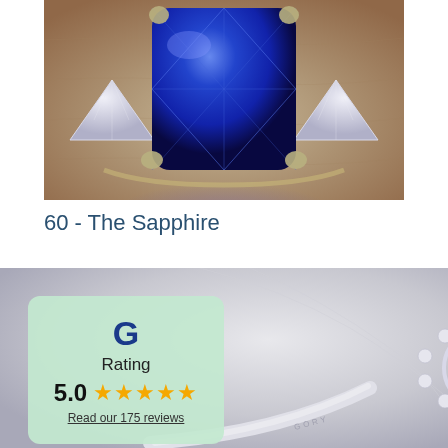[Figure (photo): Close-up photo of a three-stone sapphire ring with a large cushion-cut blue sapphire center stone flanked by two trillion-cut diamonds, set in a gold/platinum band on a leather surface]
60 - The Sapphire
[Figure (photo): Photo of an oval blue sapphire halo ring with diamond halo and diamond band, set in white metal, with a Google rating widget overlay showing 5.0 stars and 175 reviews]